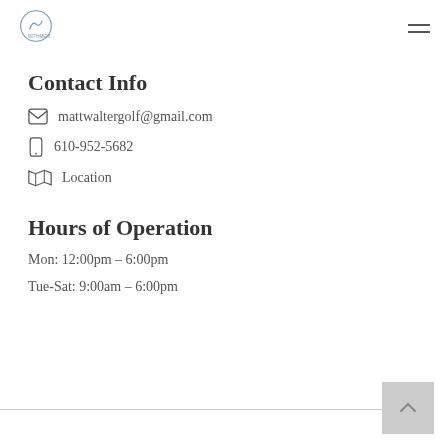Matt Walter Golf logo and navigation
Contact Info
mattwaltergolf@gmail.com
610-952-5682
Location
Hours of Operation
Mon: 12:00pm – 6:00pm
Tue-Sat: 9:00am – 6:00pm